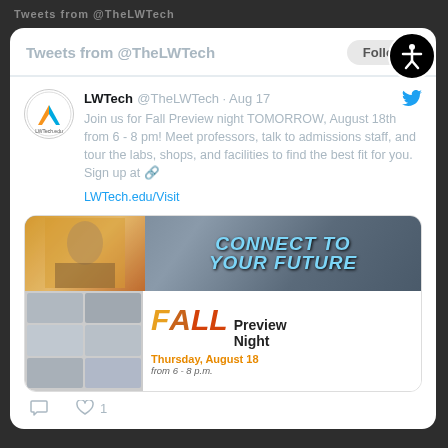Tweets from @TheLWTech
LWTech @TheLWTech · Aug 17
Join us for Fall Preview night TOMORROW, August 18th from 6 - 8 pm! Meet professors, talk to admissions staff, and tour the labs, shops, and facilities to find the best fit for you. Sign up at 🔗 LWTech.edu/Visit
[Figure (photo): Promotional image for LWTech Fall Preview Night on Thursday, August 18, from 6-8 p.m. Top portion shows students with text 'CONNECT TO YOUR FUTURE'. Bottom shows grid of student photos on left and FALL Preview Night event details on right.]